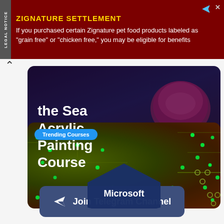[Figure (screenshot): Advertisement banner for Zignature Settlement with dark red background, yellow heading text and white body text about pet food class action, and a Legal Notice side label]
the Sea Acrylic Painting Course
[Figure (screenshot): Trending Courses card showing a Microsoft course with green circuit board background and a blue hexagonal Microsoft logo badge]
Join Telegram Channel